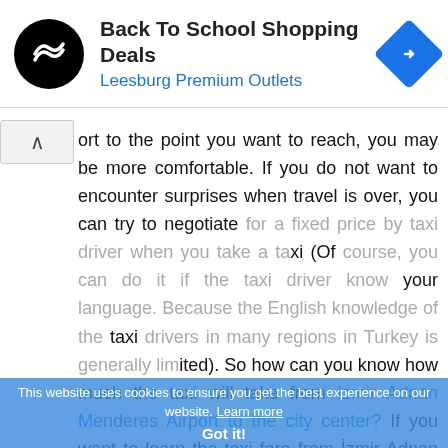[Figure (screenshot): Ad banner for Back To School Shopping Deals at Leesburg Premium Outlets with black circular logo and blue diamond navigation icon]
[Figure (screenshot): Small ad control icons: play/triangle and X close button on left side]
ort to the point you want to reach, you may be more comfortable. If you do not want to encounter surprises when travel is over, you can try to negotiate for a fixed price by taxi driver when you take a taxi (Of course, you can do it if the taxi driver know your language. Because the English knowledge of the taxi drivers in many regions in Turkey is generally limited). So how can you know how much the taxi will take from Izmir Adnan Menderes Airport to the city center? If you want to learn the taxi fare from Izmir Adnan Menderes
[Figure (screenshot): Cookie consent overlay: 'This website uses cookies to ensure you get the best experience on our website. Learn more' with 'Got it!' button on blue background]